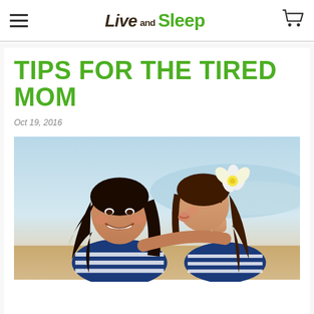Live and Sleep
TIPS FOR THE TIRED MOM
Oct 19, 2016
[Figure (photo): A smiling mother being kissed on the cheek by her young daughter who has a white plumeria flower in her hair. Both are at a beach. The mother wears a navy blue and white striped top.]